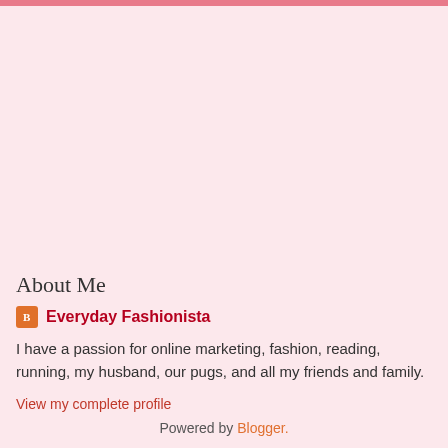About Me
Everyday Fashionista
I have a passion for online marketing, fashion, reading, running, my husband, our pugs, and all my friends and family.
View my complete profile
Powered by Blogger.